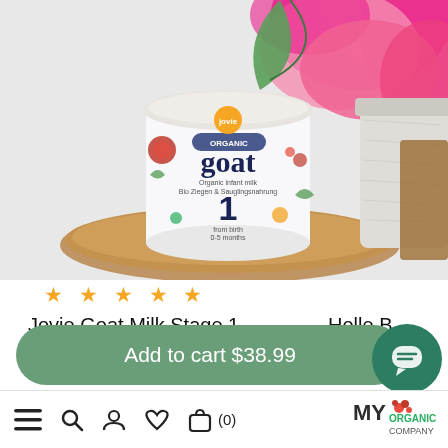[Figure (photo): Product photo of Jovie Organic Goat Milk Stage 1 formula can (400g), placed on a wooden slice with pink flowers and a white vase in the background. A second product is partially visible on the right edge.]
★ ★ ★ ★ ★
Jovie Goat Milk Stage 1
Holle B
From $68.99
Add to cart $38.99
[Figure (logo): MY ORGANIC COMPANY logo with red flower icon]